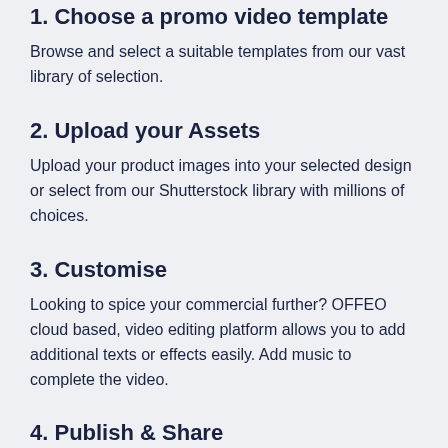1. Choose a promo video template
Browse and select a suitable templates from our vast library of selection.
2. Upload your Assets
Upload your product images into your selected design or select from our Shutterstock library with millions of choices.
3. Customise
Looking to spice your commercial further? OFFEO cloud based, video editing platform allows you to add additional texts or effects easily. Add music to complete the video.
4. Publish & Share
Save your video and use it to run ads on social media platforms. Use OFFEO's smart resize to